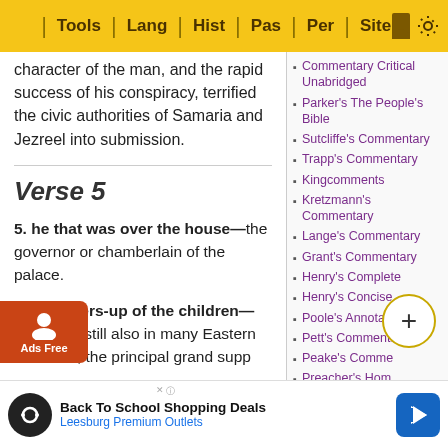Tools | Lang | Hist | Pas | Per | Site
character of the man, and the rapid success of his conspiracy, terrified the civic authorities of Samaria and Jezreel into submission.
Verse 5
5. he that was over the house—the governor or chamberlain of the palace.
the bringers-up of the children—ently, and still also in many Eastern countries, the principal grand supp
Commentary Critical Unabridged
Parker's The People's Bible
Sutcliffe's Commentary
Trapp's Commentary
Kingcomments
Kretzmann's Commentary
Lange's Commentary
Grant's Commentary
Henry's Complete
Henry's Concise
Poole's Annotations
Pett's Commentary
Peake's Comme...
Preacher's Hom...
Poor Man's Commentary
Back To School Shopping Deals
Leesburg Premium Outlets